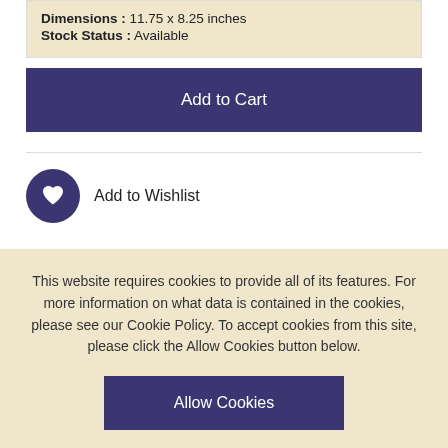Dimensions : 11.75 x 8.25 inches
Stock Status : Available
Add to Cart
Add to Wishlist
This website requires cookies to provide all of its features. For more information on what data is contained in the cookies, please see our Cookie Policy. To accept cookies from this site, please click the Allow Cookies button below.
Allow Cookies